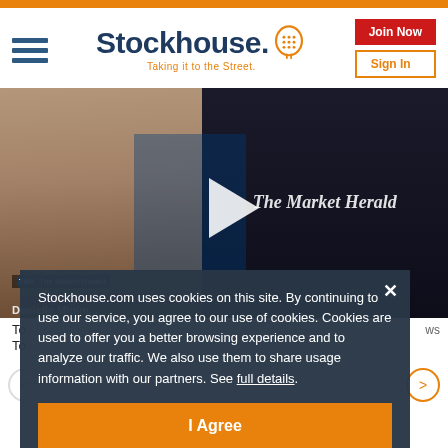[Figure (logo): Stockhouse logo with orange head icon and tagline 'Taking it to the Street.']
[Figure (screenshot): Video thumbnail showing a smiling woman and The Market Herald backdrop with a play button overlay]
To
To
ws
Stockhouse.com uses cookies on this site. By continuing to use our service, you agree to our use of cookies. Cookies are used to offer you a better browsing experience and to analyze our traffic. We also use them to share usage information with our partners. See full details.
I Agree